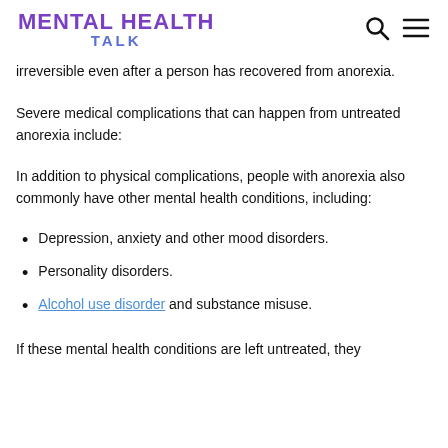MENTAL HEALTH TALK
irreversible even after a person has recovered from anorexia.
Severe medical complications that can happen from untreated anorexia include:
In addition to physical complications, people with anorexia also commonly have other mental health conditions, including:
Depression, anxiety and other mood disorders.
Personality disorders.
Alcohol use disorder and substance misuse.
If these mental health conditions are left untreated, they